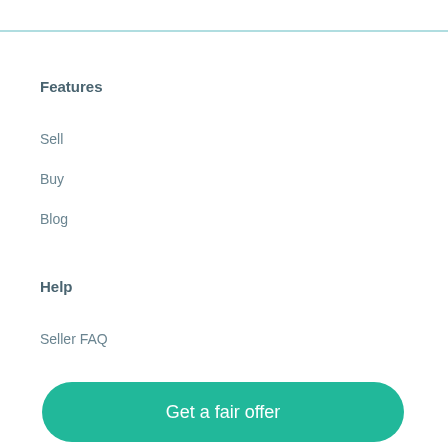Features
Sell
Buy
Blog
Help
Seller FAQ
Get a fair offer